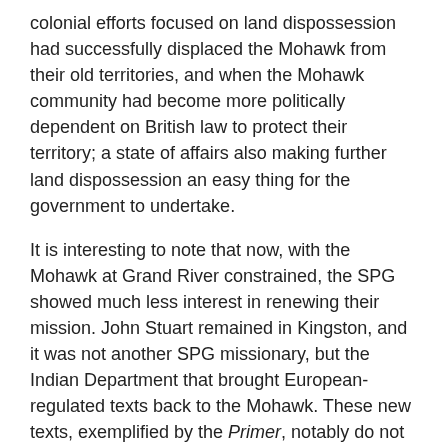colonial efforts focused on land dispossession had successfully displaced the Mohawk from their old territories, and when the Mohawk community had become more politically dependent on British law to protect their territory; a state of affairs also making further land dispossession an easy thing for the government to undertake.
It is interesting to note that now, with the Mohawk at Grand River constrained, the SPG showed much less interest in renewing their mission. John Stuart remained in Kingston, and it was not another SPG missionary, but the Indian Department that brought European-regulated texts back to the Mohawk. These new texts, exemplified by the Primer, notably do not include anything drastically departing from conventional religious material. The Primer's section of prayers, despite occasional English instructions for the teacher, was written entirely in Mohawk,[52] emphasizing a role of instruction in Mohawk more than in English, just as had been carried on by the Mohawk catechists before the return of these texts.